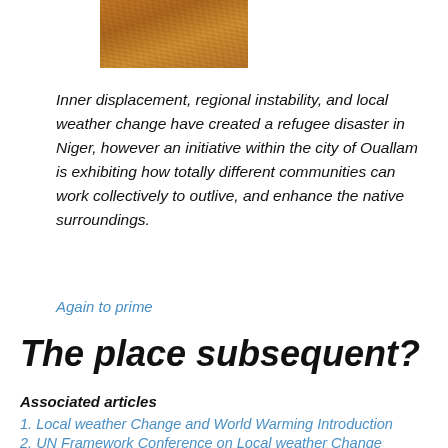[Figure (photo): Cropped aerial or close-up photo of dry sandy/earthy terrain with reddish-brown textured surface]
Inner displacement, regional instability, and local weather change have created a refugee disaster in Niger, however an initiative within the city of Ouallam is exhibiting how totally different communities can work collectively to outlive, and enhance the native surroundings.
Again to prime
The place subsequent?
Associated articles
1. Local weather Change and World Warming Introduction
2. UN Framework Conference on Local weather Change